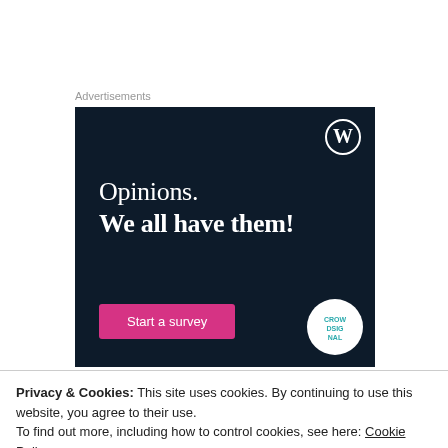Advertisements
[Figure (illustration): WordPress advertisement banner with dark navy background. Shows WordPress logo (W in circle) top right. Text reads 'Opinions. We all have them!' with a pink 'Start a survey' button and Crowdsignal logo at bottom right.]
Privacy & Cookies: This site uses cookies. By continuing to use this website, you agree to their use.
To find out more, including how to control cookies, see here: Cookie Policy
Close and accept
Thank you for your reply and apologies for not